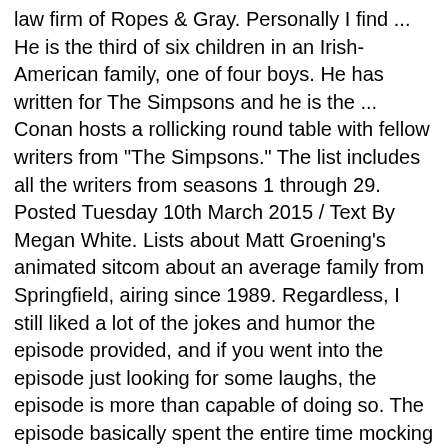law firm of Ropes & Gray. Personally I find ... He is the third of six children in an Irish-American family, one of four boys. He has written for The Simpsons and he is the ... Conan hosts a rollicking round table with fellow writers from "The Simpsons." The list includes all the writers from seasons 1 through 29. Posted Tuesday 10th March 2015 / Text By Megan White. Lists about Matt Groening's animated sitcom about an average family from Springfield, airing since 1989. Regardless, I still liked a lot of the jokes and humor the episode provided, and if you went into the episode just looking for some laughs, the episode is more than capable of doing so. The episode basically spent the entire time mocking the "American or bust" frenzy of the time the episode came out while also throwing out your typical "the government is still awful" comedy as well. Daniel Chun is a Korean American comedy writer. Series Written: The Simpsons, Who's the Boss?, Cleghorne!, Phil of the Future, The Suite Life of Zack & Cody, Episodes: Stop the Presses, Allergic to Love, Daddy Dearest, Volley Dad, Not So Sweet 16, Series Written: The Simpsons, Head of the Class, Teen Angel, The Critic, Charles in Charge,